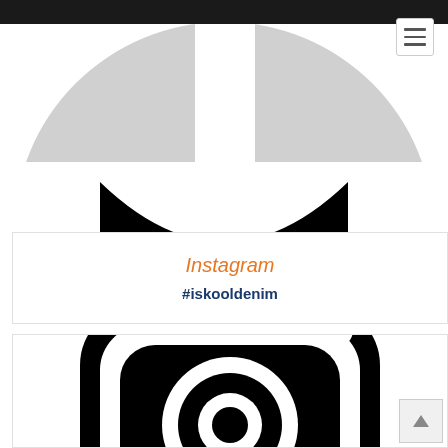[Figure (logo): Partial circular logo with light gray top arc and black bottom arc segments, split by white vertical line, cropped at top of page]
[Figure (other): Hamburger/menu button icon in top right corner]
Instagram
#iskooldenim
[Figure (logo): Instagram camera icon logo in black and white, partially visible, cropped at bottom of page]